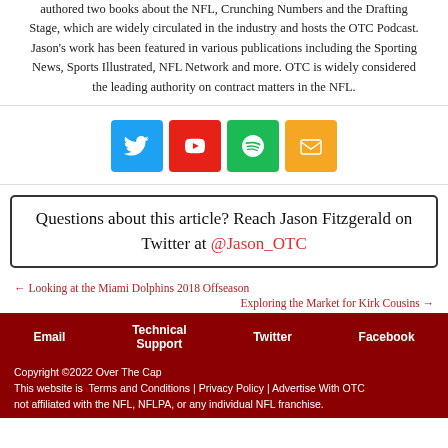authored two books about the NFL, Crunching Numbers and the Drafting Stage, which are widely circulated in the industry and hosts the OTC Podcast. Jason's work has been featured in various publications including the Sporting News, Sports Illustrated, NFL Network and more. OTC is widely considered the leading authority on contract matters in the NFL.
[Figure (infographic): Social media icons row: Twitter (blue), YouTube (red), Spotify (green), Email (orange)]
Questions about this article? Reach Jason Fitzgerald on Twitter at @Jason_OTC
← Looking at the Miami Dolphins 2018 Offseason
Exploring the Market for Kirk Cousins →
Email | Technical Support | Twitter | Facebook
Copyright ©2022 Over The Cap. This website is not affiliated with the NFL, NFLPA, or any individual NFL franchise. Terms and Conditions | Privacy Policy | Advertise With OTC